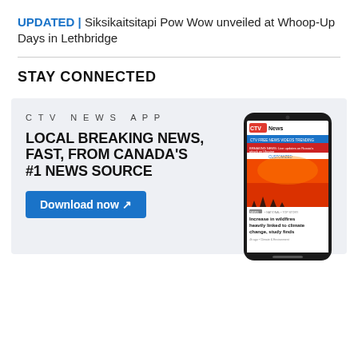UPDATED | Siksikaitsitapi Pow Wow unveiled at Whoop-Up Days in Lethbridge
STAY CONNECTED
[Figure (screenshot): CTV News App advertisement showing phone mockup with app screenshot. Text: CTV NEWS APP, LOCAL BREAKING NEWS, FAST, FROM CANADA'S #1 NEWS SOURCE, Download now with arrow. Phone shows CTV News app with wildfire image and headline 'Increase in wildfires heavily linked to climate change, study finds'.]